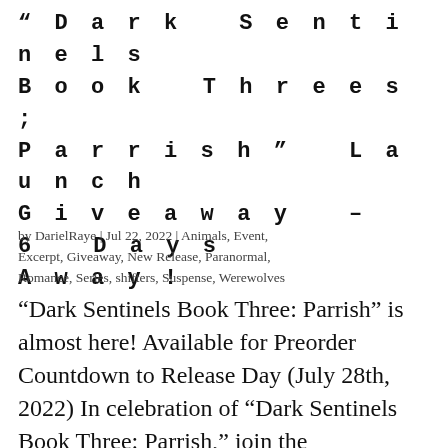“Dark Sentinels Book Threes; Parrish” Launch Giveaway – 6 Days Away!
by DarielRaye | Jul 22, 2022 | Animals, Event, Excerpt, Giveaway, New Release, Paranormal, Romance, Series, shifters, Suspense, Werewolves
“Dark Sentinels Book Three: Parrish” is almost here! Available for Preorder Countdown to Release Day (July 28th, 2022) In celebration of “Dark Sentinels Book Three: Parrish,” join the